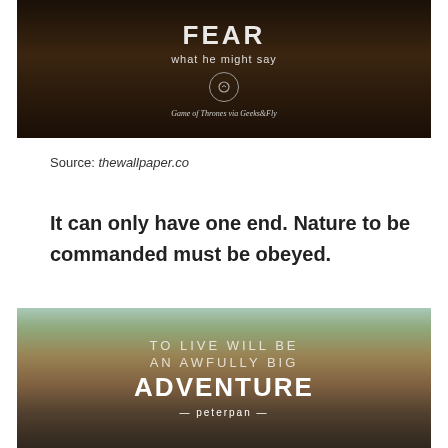[Figure (photo): Dark moody image with text overlay reading 'what he might say' with a subtitle 'Game of Thrones via Geeks&Fly']
Source: thewallpaper.co
It can only have one end. Nature to be commanded must be obeyed.
[Figure (photo): Outdoor road scene with trees and fields, overlaid with quote text: 'TO LIVE WILL BE AN AWFULLY BIG ADVENTURE — peterpan —']